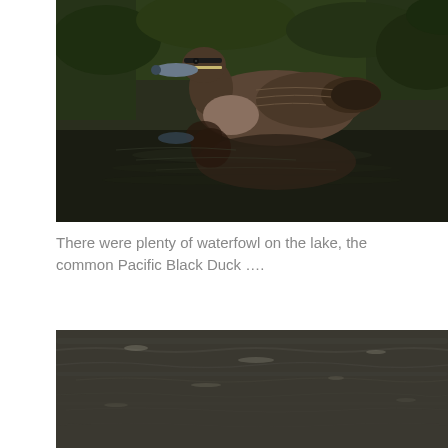[Figure (photo): A Pacific Black Duck swimming on dark water surrounded by green vegetation, with its reflection visible in the still water below.]
There were plenty of waterfowl on the lake, the common Pacific Black Duck ….
[Figure (photo): A body of dark, rippling water — likely a lake — with no subjects visible, showing only the water surface with subtle light reflections.]